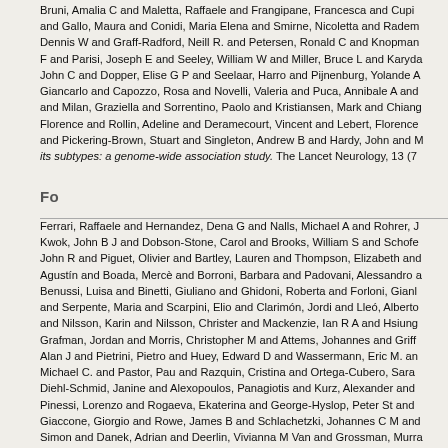Bruni, Amalia C and Maletta, Raffaele and Frangipane, Francesca and Cupi and Gallo, Maura and Conidi, Maria Elena and Smirne, Nicoletta and Radem Dennis W and Graff-Radford, Neill R. and Petersen, Ronald C and Knopman F and Parisi, Joseph E and Seeley, William W and Miller, Bruce L and Karyda John C and Dopper, Elise G P and Seelaar, Harro and Pijnenburg, Yolande A Giancarlo and Capozzo, Rosa and Novelli, Valeria and Puca, Annibale A and and Milan, Graziella and Sorrentino, Paolo and Kristiansen, Mark and Chiang Florence and Rollin, Adeline and Deramecourt, Vincent and Lebert, Florence and Pickering-Brown, Stuart and Singleton, Andrew B and Hardy, John and M its subtypes: a genome-wide association study. The Lancet Neurology, 13 (7
Fo
Ferrari, Raffaele and Hernandez, Dena G and Nalls, Michael A and Rohrer, J Kwok, John B J and Dobson-Stone, Carol and Brooks, William S and Schofe John R and Piguet, Olivier and Bartley, Lauren and Thompson, Elizabeth and Agustín and Boada, Mercè and Borroni, Barbara and Padovani, Alessandro a Benussi, Luisa and Binetti, Giuliano and Ghidoni, Roberta and Forloni, Gianl and Serpente, Maria and Scarpini, Elio and Clarimón, Jordi and Lleó, Alberto and Nilsson, Karin and Nilsson, Christer and Mackenzie, Ian R A and Hsiung Grafman, Jordan and Morris, Christopher M and Attems, Johannes and Griff Alan J and Pietrini, Pietro and Huey, Edward D and Wassermann, Eric M. an Michael C. and Pastor, Pau and Razquin, Cristina and Ortega-Cubero, Sara Diehl-Schmid, Janine and Alexopoulos, Panagiotis and Kurz, Alexander and Pinessi, Lorenzo and Rogaeva, Ekaterina and George-Hyslop, Peter St and Giaccone, Giorgio and Rowe, James B and Schlachetzki, Johannes C M and Simon and Danek, Adrian and Deerlin, Vivianna M Van and Grossman, Murra Julie and Deschamps, William and Langenhove, Tim Van and Cruts, Marc an Stefano F and Ber, Isabelle Le and Hannequin, Didier and Golfier, Véronique